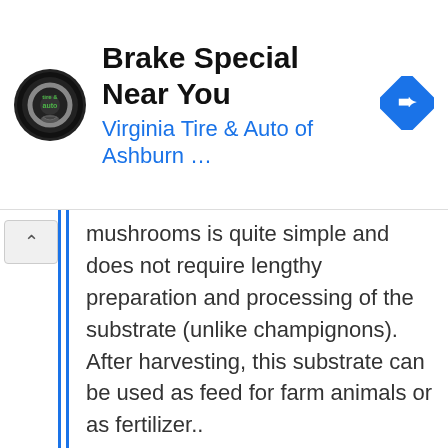[Figure (screenshot): Ad banner for Virginia Tire & Auto of Ashburn showing circular logo, headline 'Brake Special Near You', subtitle 'Virginia Tire & Auto of Ashburn ...', and a blue navigation arrow icon]
mushrooms is quite simple and does not require lengthy preparation and processing of the substrate (unlike champignons). After harvesting, this substrate can be used as feed for farm animals or as fertilizer..
[Figure (photo): Close-up photograph of oyster mushrooms growing on substrate bags in a mushroom farm, showing clusters of white and grey mushrooms with dark edges]